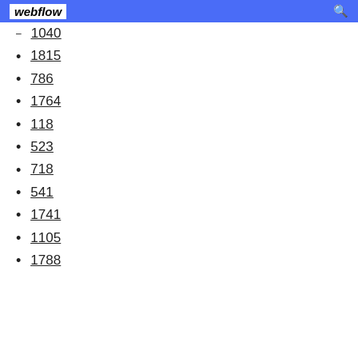webflow
1040
1815
786
1764
118
523
718
541
1741
1105
1788